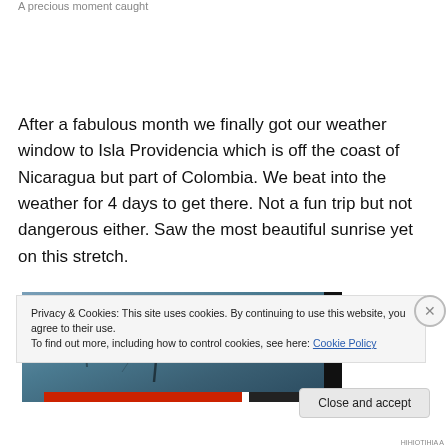A precious moment caught
After a fabulous month we finally got our weather window to Isla Providencia which is off the coast of Nicaragua but part of Colombia. We beat into the weather for 4 days to get there. Not a fun trip but not dangerous either. Saw the most beautiful sunrise yet on this stretch.
[Figure (photo): Partial view of a sailboat mast and rigging against a blue-grey sky/sea, with a black vertical element on the right edge. A colored progress/navigation bar runs along the bottom of the image area.]
Privacy & Cookies: This site uses cookies. By continuing to use this website, you agree to their use.
To find out more, including how to control cookies, see here: Cookie Policy
Close and accept